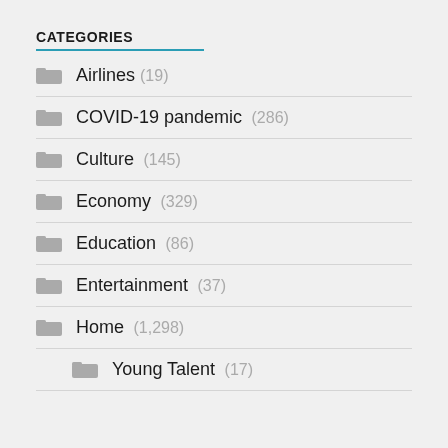CATEGORIES
Airlines (19)
COVID-19 pandemic (286)
Culture (145)
Economy (329)
Education (86)
Entertainment (37)
Home (1,298)
Young Talent (17)